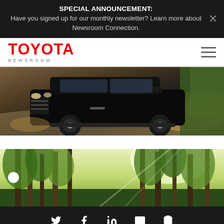SPECIAL ANNOUNCEMENT: Have you signed up for our monthly newsletter? Learn more about Newsroom Connection.
[Figure (logo): Toyota Newsroom logo with red TOYOTA text and grey NEWSROOM subtitle]
[Figure (photo): Black Toyota Land Cruiser SUV driving on a dirt trail with dust cloud, surrounded by trees and foliage]
[Figure (photo): Forest scene with tall trees and sunlight filtering through, green foliage, with a white circle indicator on the left]
Social sharing icons: Twitter, Facebook, LinkedIn, Email, Link/Clipboard